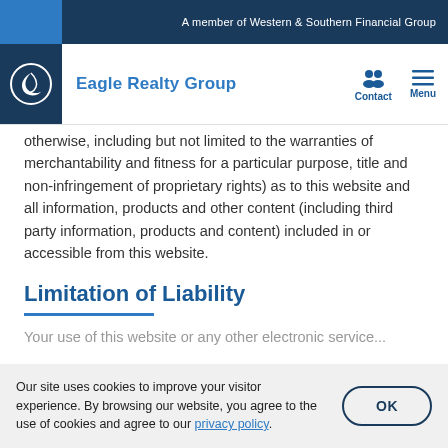A member of Western & Southern Financial Group
[Figure (logo): Eagle Realty Group logo with navigation icons for Contact and Menu]
otherwise, including but not limited to the warranties of merchantability and fitness for a particular purpose, title and non-infringement of proprietary rights) as to this website and all information, products and other content (including third party information, products and content) included in or accessible from this website.
Limitation of Liability
Your use of this website or any other electronic service...
Our site uses cookies to improve your visitor experience. By browsing our website, you agree to the use of cookies and agree to our privacy policy.